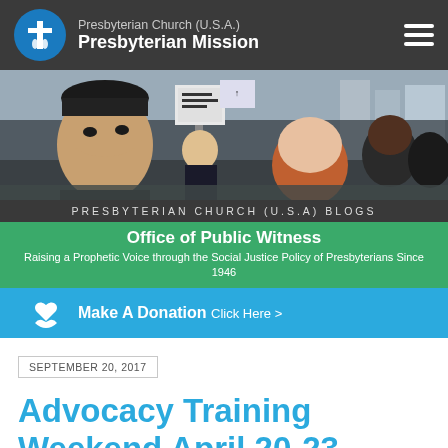Presbyterian Church (U.S.A.) Presbyterian Mission
[Figure (photo): Protest scene with people holding signs on a city street]
PRESBYTERIAN CHURCH (U.S.A) BLOGS
Office of Public Witness
Raising a Prophetic Voice through the Social Justice Policy of Presbyterians Since 1946
Make A Donation Click Here >
SEPTEMBER 20, 2017
Advocacy Training Weekend April 20-23